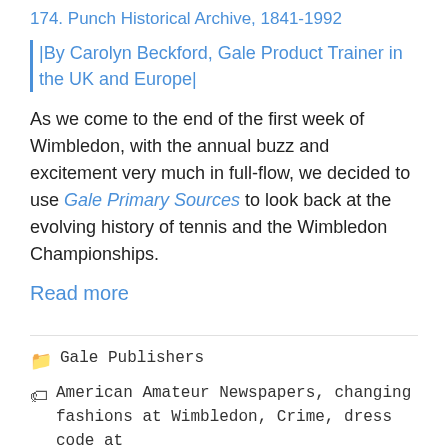174. Punch Historical Archive, 1841-1992
|By Carolyn Beckford, Gale Product Trainer in the UK and Europe|
As we come to the end of the first week of Wimbledon, with the annual buzz and excitement very much in full-flow, we decided to use Gale Primary Sources to look back at the evolving history of tennis and the Wimbledon Championships.
Read more
Gale Publishers
American Amateur Newspapers, changing fashions at Wimbledon, Crime, dress code at